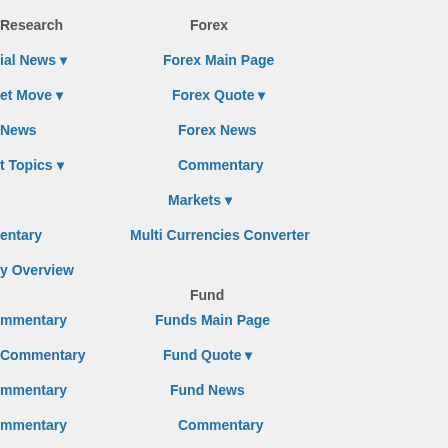Research
Forex
ial News ▾
Forex Main Page
et Move ▾
Forex Quote ▾
News
Forex News
t Topics ▾
Commentary
Markets ▾
Multi Currencies Converter
entary
y Overview
Fund
mmentary
Funds Main Page
Commentary
Fund Quote ▾
mmentary
Fund News
mmentary
Commentary
arch
Tools ▾
ants
Main Page
MPF
Warrants